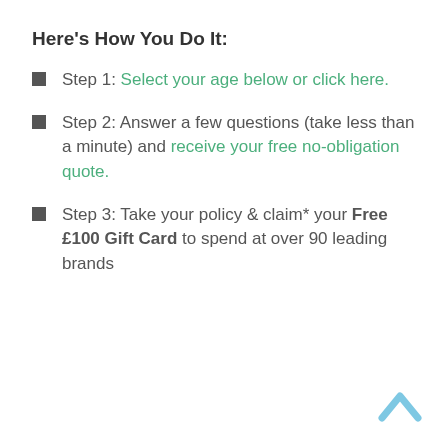Here's How You Do It:
Step 1: Select your age below or click here.
Step 2: Answer a few questions (take less than a minute) and receive your free no-obligation quote.
Step 3: Take your policy & claim* your Free £100 Gift Card to spend at over 90 leading brands